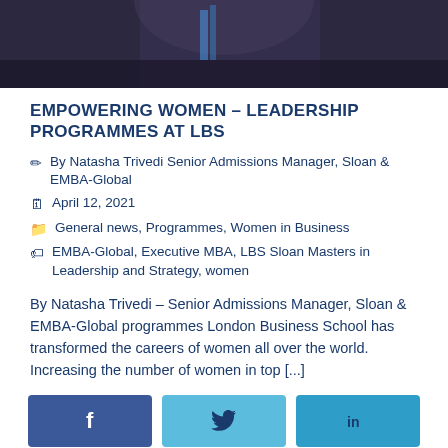[Figure (photo): Partial photo of a person wearing a blue lanyard, dark background, cropped to show top portion only]
EMPOWERING WOMEN – LEADERSHIP PROGRAMMES AT LBS
✏ By Natasha Trivedi Senior Admissions Manager, Sloan & EMBA-Global
🗓 April 12, 2021
📁 General news, Programmes, Women in Business
🏷 EMBA-Global, Executive MBA, LBS Sloan Masters in Leadership and Strategy, women
By Natasha Trivedi – Senior Admissions Manager, Sloan & EMBA-Global programmes London Business School has transformed the careers of women all over the world. Increasing the number of women in top [...]